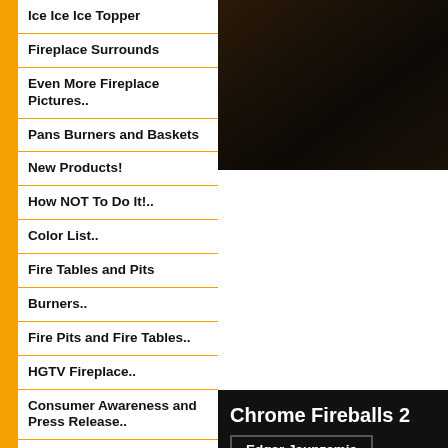Ice Ice Ice Topper
Fireplace Surrounds
Even More Fireplace Pictures..
Pans Burners and Baskets
New Products!
How NOT To Do It!..
Color List..
Fire Tables and Pits
Burners..
Fire Pits and Fire Tables..
HGTV Fireplace..
Consumer Awareness and Press Release..
Propane Burners..
Even More Fireplace
[Figure (photo): Dark photo of a fireplace scene, upper right area]
Chrome Fireballs 2
Edgar Jaunzemis
[Figure (photo): Dark fireplace glow image, bottom right area]